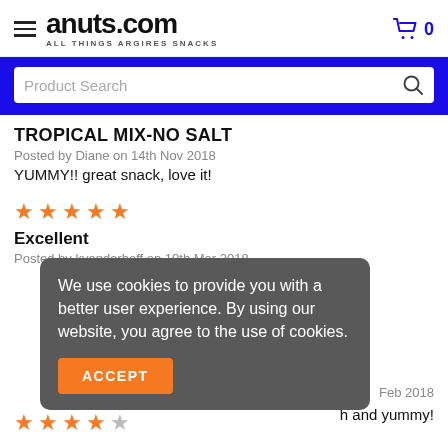anuts.com ALL THINGS ARGIRES SNACKS
[Figure (screenshot): Product Search bar with search icon on blue background]
TROPICAL MIX-NO SALT
Posted by Diane on 14th Nov 2018
YUMMY!! great snack, love it!
[Figure (other): 5 orange stars rating]
Excellent
Posted by kvanderhoff on 19th Mar 2018
We use cookies to provide you with a better user experience. By using our website, you agree to the use of cookies.
Feb 2018
h and yummy!
[Figure (other): 4 orange stars and 1 gray star rating]